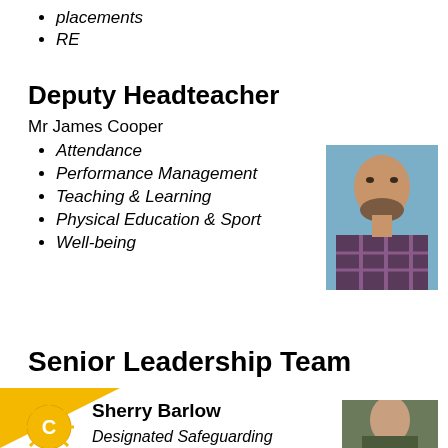placements
RE
Deputy Headteacher
Mr James Cooper
Attendance
Performance Management
Teaching & Learning
Physical Education & Sport
Well-being
[Figure (photo): Headshot photo of Mr James Cooper, a man with a beard wearing a plaid shirt, against a blue background]
Senior Leadership Team
[Figure (logo): Gold sun/star icon with letter C in the centre]
Sherry Barlow
Designated Safeguarding
[Figure (photo): Photo of Sherry Barlow partially visible at bottom right]